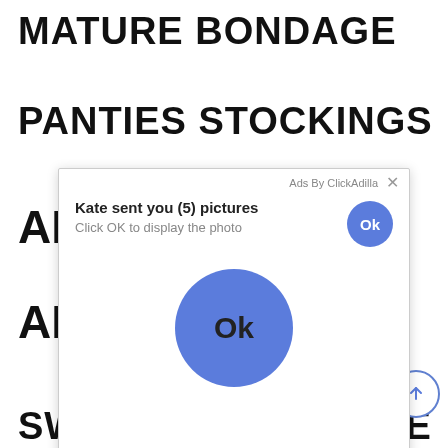MATURE BONDAGE
PANTIES STOCKINGS
AM
[Figure (screenshot): Ad popup overlay from ClickAdilla. Contains message 'Kate sent you (5) pictures', subtitle 'Click OK to display the photo', a small blue OK button in top right, and a large blue OK button in center.]
AM
SWINGER LIFESTYLE